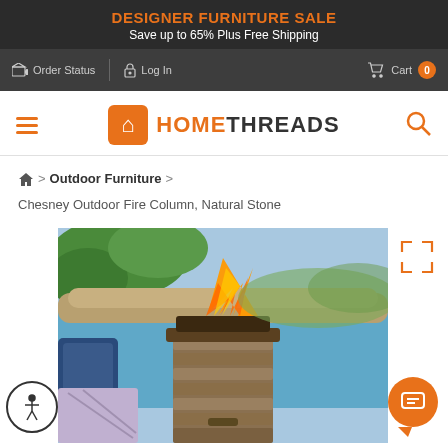DESIGNER FURNITURE SALE
Save up to 65% Plus Free Shipping
Order Status  Log In  Cart 0
[Figure (logo): HomeThreads logo with orange square icon and bold text]
Home > Outdoor Furniture > Chesney Outdoor Fire Column, Natural Stone
[Figure (photo): Outdoor fire column with flame on top, natural stone pillar, next to a pool with blue cushion chair visible]